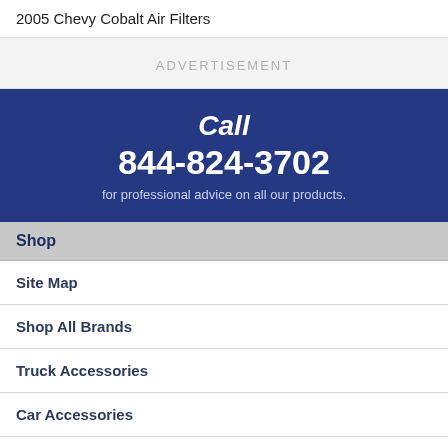2005 Chevy Cobalt Air Filters
ADVERTISEMENT
Call 844-824-3702 for professional advice on all our products.
Shop
Site Map
Shop All Brands
Truck Accessories
Car Accessories